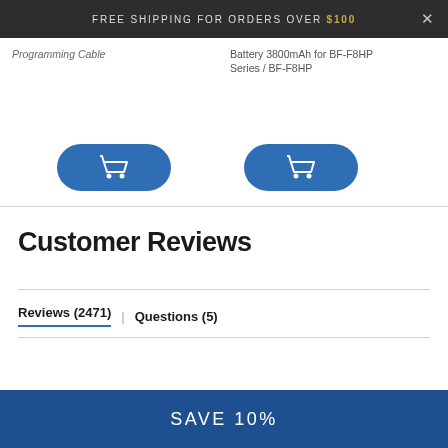Free shipping for orders over $100
Programming Cable
Battery 3800mAh for BF-F8HP Series / BF-F8HP
Customer Reviews
Reviews (2471) | Questions (5)
SAVE 10%